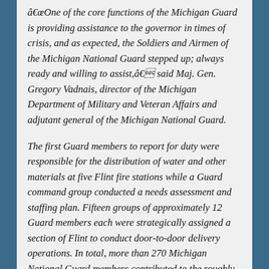â€œOne of the core functions of the Michigan Guard is providing assistance to the governor in times of crisis, and as expected, the Soldiers and Airmen of the Michigan National Guard stepped up; always ready and willing to assist,â€ said Maj. Gen. Gregory Vadnais, director of the Michigan Department of Military and Veteran Affairs and adjutant general of the Michigan National Guard.
The first Guard members to report for duty were responsible for the distribution of water and other materials at five Flint fire stations while a Guard command group conducted a needs assessment and staffing plan. Fifteen groups of approximately 12 Guard members each were strategically assigned a section of Flint to conduct door-to-door delivery operations. In total, more than 270 Michigan National Guard members contributed to the roughly 10-day, mission. A small contingent of Guard members will remain in state active duty status until Vadnais